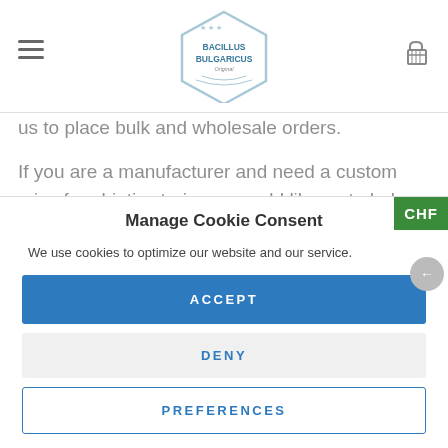Bacillus Bulgaricus — website header with hamburger menu, logo, and cart icon
us to place bulk and wholesale orders.
If you are a manufacturer and need a custom mix of probiotic strains or would like us to help make your products better
Manage Cookie Consent
We use cookies to optimize our website and our service.
ACCEPT
DENY
PREFERENCES